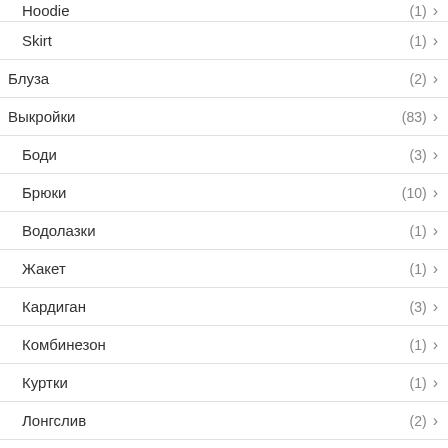Hoodie (1)
Skirt (1)
Блуза (2)
Выкройки (83)
Боди (3)
Брюки (10)
Водолазки (1)
Жакет (1)
Кардиган (3)
Комбинезон (1)
Куртки (1)
Лонгслив (2)
Пальто (2)
Пижама (1)